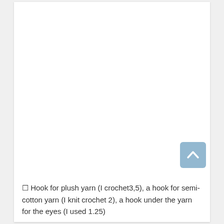[Figure (other): Back to top button — a rounded square button with a light blue/steel background and an upward-pointing chevron/caret arrow in white, positioned in the lower-right area of the page.]
☐ Hook for plush yarn (I crochet3,5), a hook for semi-cotton yarn (I knit crochet 2), a hook under the yarn for the eyes (I used 1.25)